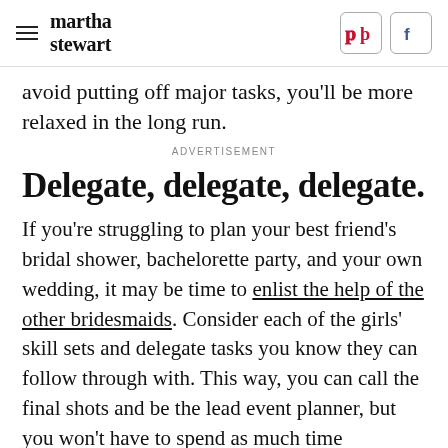martha stewart
avoid putting off major tasks, you'll be more relaxed in the long run.
ADVERTISEMENT
Delegate, delegate, delegate.
If you're struggling to plan your best friend's bridal shower, bachelorette party, and your own wedding, it may be time to enlist the help of the other bridesmaids. Consider each of the girls' skill sets and delegate tasks you know they can follow through with. This way, you can call the final shots and be the lead event planner, but you won't have to spend as much time...